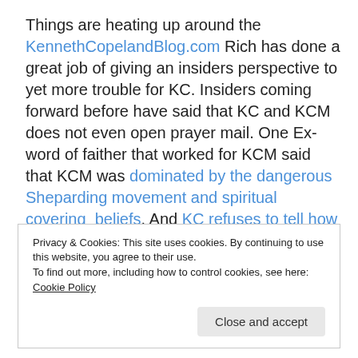Things are heating up around the KennethCopelandBlog.com Rich has done a great job of giving an insiders perspective to yet more trouble for KC. Insiders coming forward before have said that KC and KCM does not even open prayer mail. One Ex-word of faither that worked for KCM said that KCM was dominated by the dangerous Sheparding movement and spiritual covering  beliefs. And KC refuses to tell how his ministries money is spent. Now it looks like Vermillion has some information about the Copeland family that does not befit
Privacy & Cookies: This site uses cookies. By continuing to use this website, you agree to their use. To find out more, including how to control cookies, see here: Cookie Policy
Close and accept